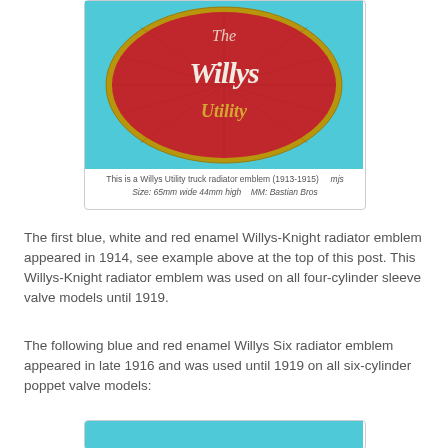[Figure (photo): Red oval Willys Utility truck radiator emblem with gold script text reading 'The Willys Utility' on a teal/cyan background]
This is a Willys Utility truck radiator emblem (1913-1915)    mjs
Size: 65mm wide 44mm high    MM: Bastian Bros
The first blue, white and red enamel Willys-Knight radiator emblem appeared in 1914, see example above at the top of this post. This Willys-Knight radiator emblem was used on all four-cylinder sleeve valve models until 1919.
The following blue and red enamel Willys Six radiator emblem appeared in late 1916 and was used until 1919 on all six-cylinder poppet valve models:
[Figure (photo): Partial view of another radiator emblem on teal/cyan background, cropped at bottom of page]